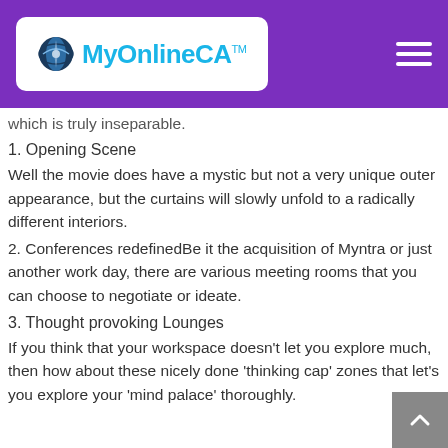MyOnlineCA™
which is truly inseparable.
1. Opening Scene
Well the movie does have a mystic but not a very unique outer appearance, but the curtains will slowly unfold to a radically different interiors.
2. Conferences redefinedBe it the acquisition of Myntra or just another work day, there are various meeting rooms that you can choose to negotiate or ideate.
3. Thought provoking Lounges
If you think that your workspace doesn't let you explore much, then how about these nicely done 'thinking cap' zones that let's you explore your 'mind palace' thoroughly.